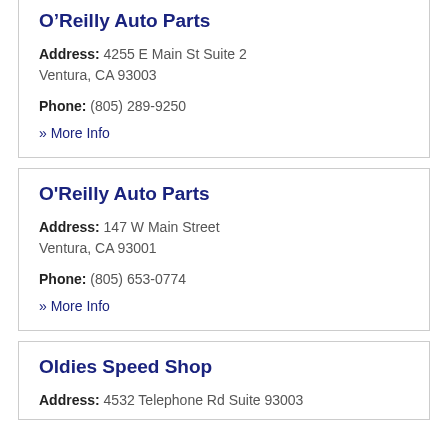O'Reilly Auto Parts
Address: 4255 E Main St Suite 2 Ventura, CA 93003
Phone: (805) 289-9250
» More Info
O'Reilly Auto Parts
Address: 147 W Main Street Ventura, CA 93001
Phone: (805) 653-0774
» More Info
Oldies Speed Shop
Address: 4532 Telephone Rd Suite 93003